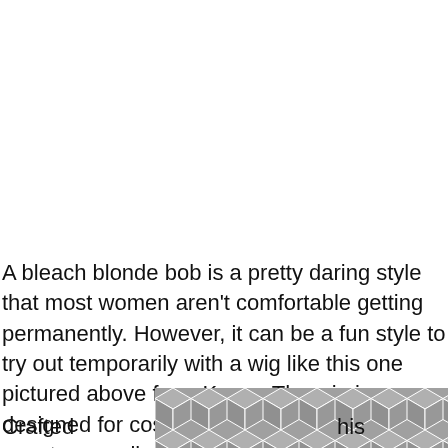[Figure (photo): Large white/blank area at top of page — image of bleach blonde bob wig (mostly cropped/white in this view)]
A bleach blonde bob is a pretty daring style that most women aren't comfortable getting permanently. However, it can be a fun style to try out temporarily with a wig like this one pictured above from Kamo. The wig is designed for costume parties and special events as well as everyday use.
[Figure (photo): Partial geometric patterned image (hexagon/cube pattern in grey tones) overlapping the bottom of the text and footer area]
Crafted                                                                                              his